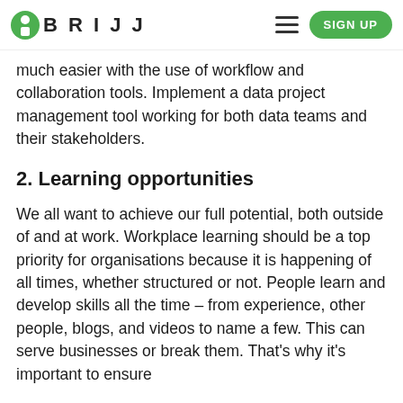BRIJJ [hamburger menu] [SIGN UP button]
much easier with the use of workflow and collaboration tools. Implement a data project management tool working for both data teams and their stakeholders.
2. Learning opportunities
We all want to achieve our full potential, both outside of and at work. Workplace learning should be a top priority for organisations because it is happening of all times, whether structured or not. People learn and develop skills all the time – from experience, other people, blogs, and videos to name a few. This can serve businesses or break them. That's why it's important to ensure